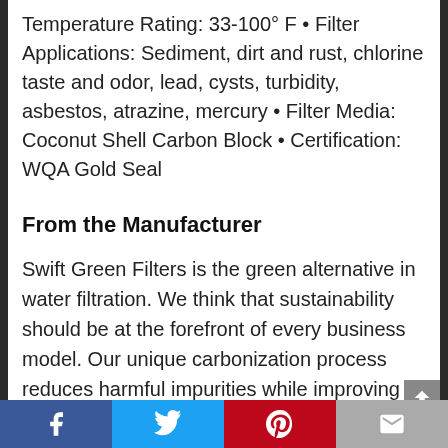Temperature Rating: 33-100° F • Filter Applications: Sediment, dirt and rust, chlorine taste and odor, lead, cysts, turbidity, asbestos, atrazine, mercury • Filter Media: Coconut Shell Carbon Block • Certification: WQA Gold Seal
From the Manufacturer
Swift Green Filters is the green alternative in water filtration. We think that sustainability should be at the forefront of every business model. Our unique carbonization process reduces harmful impurities while improving the quality of your drinking water. We offer a